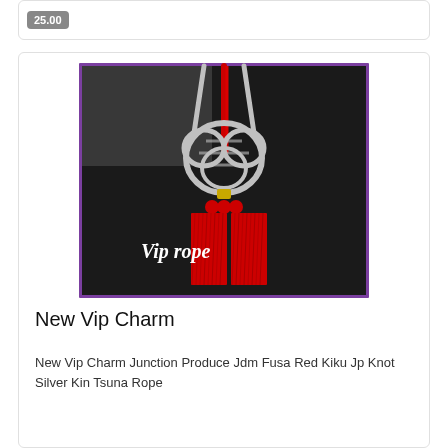25.00
[Figure (photo): A decorative car charm accessory featuring a silver braided heart/knot shape attached to red hanging tassels, displayed hanging from a car headrest. Text 'Vip rope' is overlaid in white italic text at the bottom left of the image. The image has a purple/blue border.]
New Vip Charm
New Vip Charm Junction Produce Jdm Fusa Red Kiku Jp Knot Silver Kin Tsuna Rope